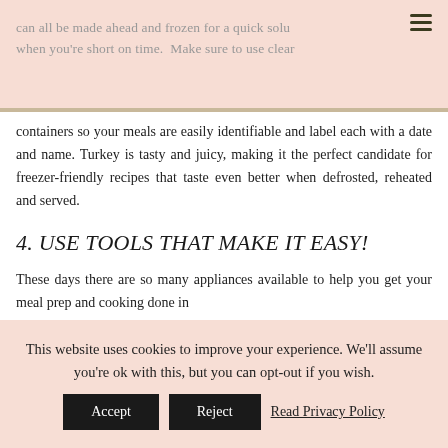can all be made ahead and frozen for a quick solution when you're short on time.  Make sure to use clear
containers so your meals are easily identifiable and label each with a date and name. Turkey is tasty and juicy, making it the perfect candidate for freezer-friendly recipes that taste even better when defrosted, reheated and served.
4. USE TOOLS THAT MAKE IT EASY!
These days there are so many appliances available to help you get your meal prep and cooking done in
This website uses cookies to improve your experience. We'll assume you're ok with this, but you can opt-out if you wish.
Accept  Reject  Read Privacy Policy